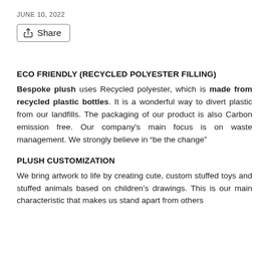JUNE 10, 2022
Share
ECO FRIENDLY (RECYCLED POLYESTER FILLING)
Bespoke plush uses Recycled polyester, which is made from recycled plastic bottles. It is a wonderful way to divert plastic from our landfills. The packaging of our product is also Carbon emission free. Our company's main focus is on waste management. We strongly believe in “be the change”
PLUSH CUSTOMIZATION
We bring artwork to life by creating cute, custom stuffed toys and stuffed animals based on children’s drawings. This is our main characteristic that makes us stand apart from others